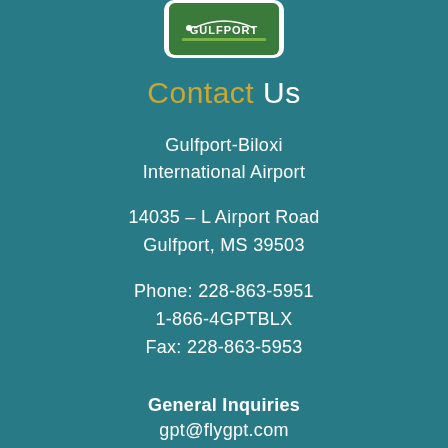[Figure (logo): Gulfport-Biloxi International Airport logo — green rounded rectangle with white map/plane graphic on white rounded rectangle background]
Contact Us
Gulfport-Biloxi
International Airport
14035 – L Airport Road
Gulfport, MS 39503
Phone: 228-863-5951
1-866-4GPTBLX
Fax: 228-863-5953
General Inquiries
gpt@flygpt.com
Connect
[Figure (illustration): Three social media icons in circles: Facebook (f), Twitter (bird), Instagram (camera) — white outlines on teal background]